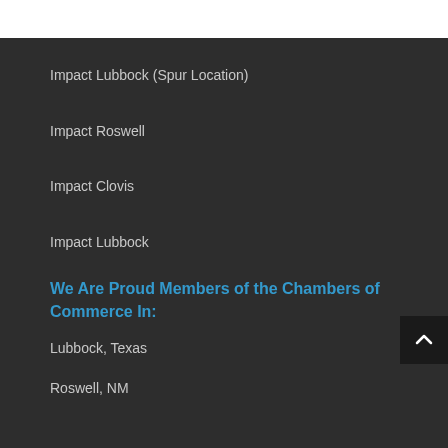Impact Lubbock (Spur Location)
Impact Roswell
Impact Clovis
Impact Lubbock
We Are Proud Members of the Chambers of Commerce In:
Lubbock, Texas
Roswell, NM